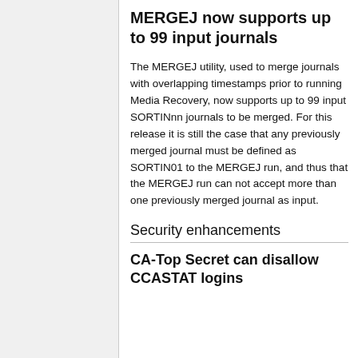MERGEJ now supports up to 99 input journals
The MERGEJ utility, used to merge journals with overlapping timestamps prior to running Media Recovery, now supports up to 99 input SORTINnn journals to be merged. For this release it is still the case that any previously merged journal must be defined as SORTIN01 to the MERGEJ run, and thus that the MERGEJ run can not accept more than one previously merged journal as input.
Security enhancements
CA-Top Secret can disallow CCASTAT logins